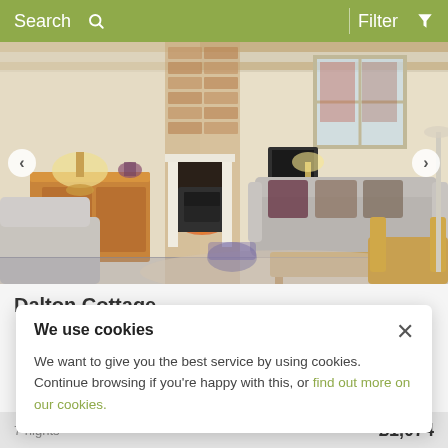Search  Filter
[Figure (photo): Interior photo of a cosy cottage living room with exposed stone fireplace, log burner, grey sofa with patterned cushions, wooden sideboard with lamp, and a large window. Navigation arrows on left and right sides.]
Dalton Cottage
We use cookies
We want to give you the best service by using cookies. Continue browsing if you're happy with this, or find out more on our cookies.
7 nights  £1,074